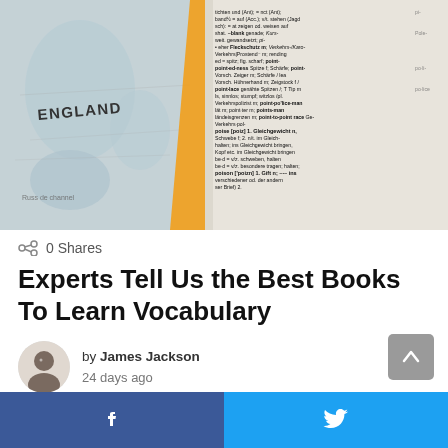[Figure (photo): A composite image showing a map with 'ENGLAND' labeled on the left side and an open dictionary/book with text entries on the right side, with an orange diagonal stripe dividing them.]
0 Shares
Experts Tell Us the Best Books To Learn Vocabulary
by James Jackson
24 days ago